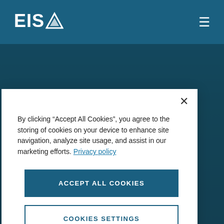EISA
A&H Insurance
By clicking “Accept All Cookies”, you agree to the storing of cookies on your device to enhance site navigation, analyze site usage, and assist in our marketing efforts. Privacy policy
Accept All Cookies
Cookies Settings